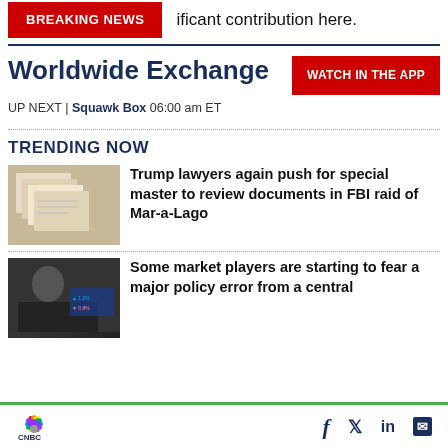ificant contribution here.
BREAKING NEWS
Worldwide Exchange
[Figure (logo): WATCH IN THE APP red button]
UP NEXT | Squawk Box 06:00 am ET
TRENDING NOW
[Figure (photo): Thumbnail image of documents/papers spread out]
Trump lawyers again push for special master to review documents in FBI raid of Mar-a-Lago
[Figure (photo): Thumbnail image of person with market board behind]
Some market players are starting to fear a major policy error from a central
CNBC logo, social icons: Facebook, Twitter, LinkedIn, Email